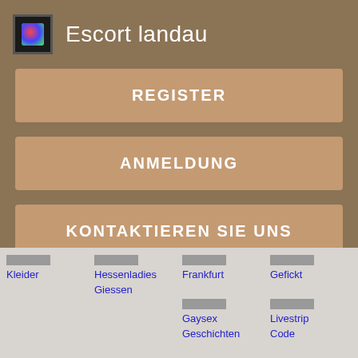Escort landau
REGISTER
ANMELDUNG
KONTAKTIEREN SIE UNS
Kleider
Hessenladies Giessen
Frankfurt
Gefickt
Gaysex Geschichten
Livestrip Code
Weitere profile laden
Are you ready for a sparkling, non-committal adventure from